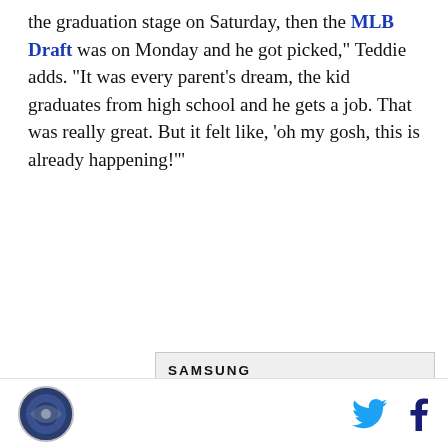the graduation stage on Saturday, then the MLB Draft was on Monday and he got picked," Teddie adds. "It was every parent's dream, the kid graduates from high school and he gets a job. That was really great. But it felt like, ‘oh my gosh, this is already happening!'"
[Figure (infographic): Samsung advertisement for Galaxy Z Fold4. Shows Samsung logo, headline 'Bring all your devices into the fold', a 'LEARN MORE' button, product image showing Galaxy Z Fold4 in a video call, a Galaxy Watch, earbuds, and stylus. Text 'Galaxy Z Fold4' and disclaimer text at bottom.]
Site logo on left; Twitter and Facebook social icons on right